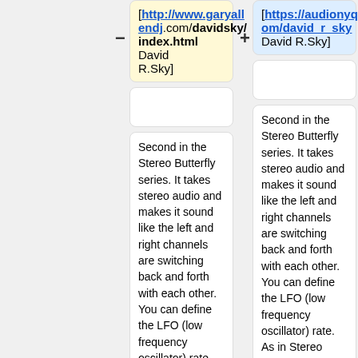[http://www.garyallendj.com/davidsky/index.html David R.Sky]
[https://audionyq.com/david_r_sky David R.Sky]
(empty card)
(empty card)
Second in the Stereo Butterfly series. It takes stereo audio and makes it sound like the left and right channels are switching back and forth with each other. You can define the LFO (low frequency oscillator) rate. As in Stereo Butterfly (static), -1 is stereo channels fully flipped with each other, 0 sounds like mono, and 1 is full regular
Second in the Stereo Butterfly series. It takes stereo audio and makes it sound like the left and right channels are switching back and forth with each other. You can define the LFO (low frequency oscillator) rate. As in Stereo Butterfly (static), -1 is stereo channels fully flipped with each other, 0 sounds like mono, and 1 is full regular